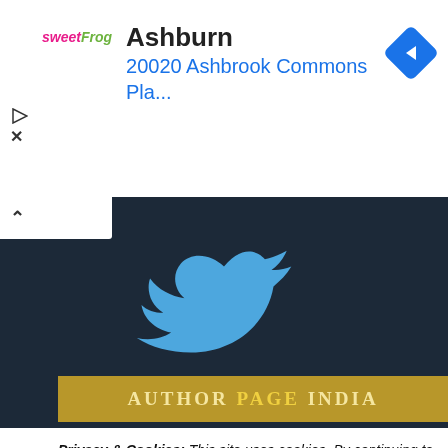[Figure (screenshot): Ad banner with sweetFrog logo, city name Ashburn, address 20020 Ashbrook Commons Pla..., navigation diamond icon, play and close buttons]
[Figure (logo): Twitter bird logo in blue on dark navy background]
[Figure (screenshot): Author Page India banner in gold/yellow with white text]
Privacy & Cookies: This site uses cookies. By continuing to use this website, you agree to their use. To find out more, see here : Privacy Policy
OK